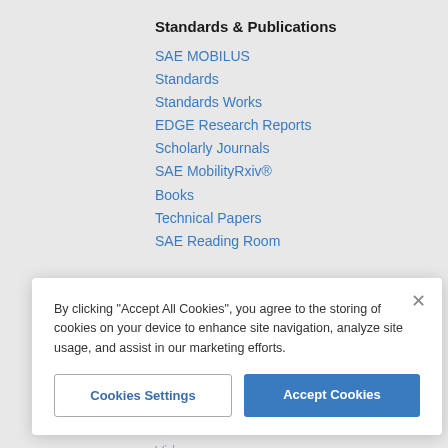Standards & Publications
SAE MOBILUS
Standards
Standards Works
EDGE Research Reports
Scholarly Journals
SAE MobilityRxiv®
Books
Technical Papers
SAE Reading Room
News & Information
News
Magazines
SAE Press Room
SAE@Home Video Series
Roundtable Series
Podcasts
Video
Events
SAE Events
Demo Days
By clicking "Accept All Cookies", you agree to the storing of cookies on your device to enhance site navigation, analyze site usage, and assist in our marketing efforts.
Cookies Settings
Accept Cookies